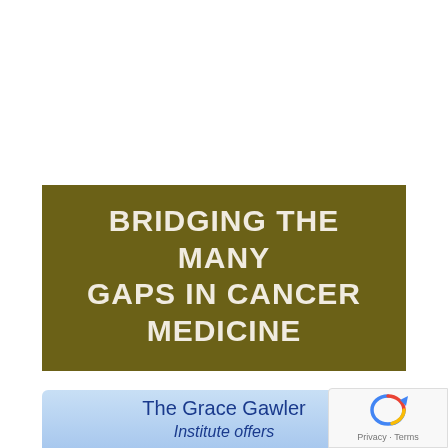BRIDGING THE MANY GAPS IN CANCER MEDICINE
[Figure (other): Blue gradient banner with text 'The Grace Gawler Institute offers' partially visible at bottom of page]